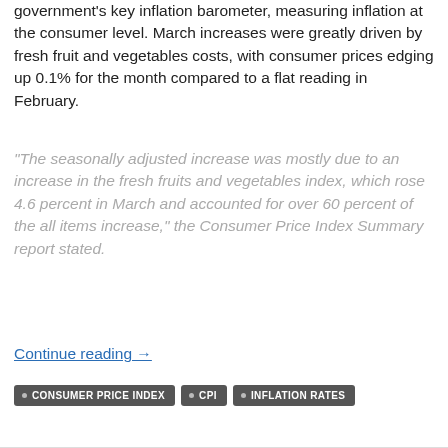government's key inflation barometer, measuring inflation at the consumer level. March increases were greatly driven by fresh fruit and vegetables costs, with consumer prices edging up 0.1% for the month compared to a flat reading in February.
"The seasonally adjusted increase was mostly due to an increase in the fresh fruits and vegetables index, which rose 4.6 percent in March and accounted for over 60 percent of the all items increase," the Consumer Price Index Summary report stated.
Continue reading →
CONSUMER PRICE INDEX
CPI
INFLATION RATES